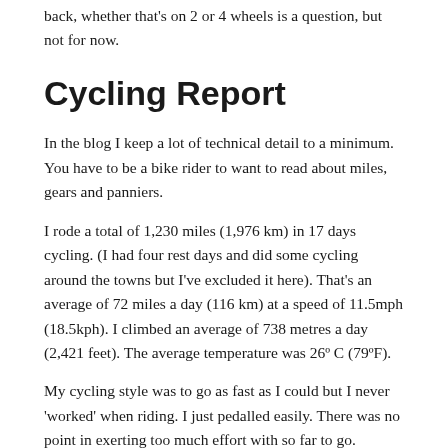back, whether that's on 2 or 4 wheels is a question, but not for now.
Cycling Report
In the blog I keep a lot of technical detail to a minimum. You have to be a bike rider to want to read about miles, gears and panniers.
I rode a total of 1,230 miles (1,976 km) in 17 days cycling. (I had four rest days and did some cycling around the towns but I've excluded it here). That's an average of 72 miles a day (116 km) at a speed of 11.5mph (18.5kph). I climbed an average of 738 metres a day (2,421 feet). The average temperature was 26º C (79ºF).
My cycling style was to go as fast as I could but I never 'worked' when riding. I just pedalled easily. There was no point in exerting too much effort with so far to go. Naturally I was concerned not to strain anything or cause injury. On climbs I would reach for the gears. (It was not easy to stand on the pedals in any case, the bike